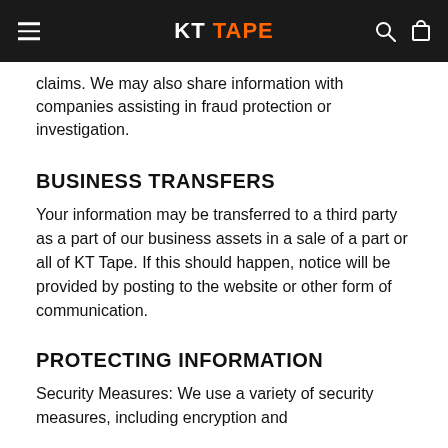KT TAPE
claims. We may also share information with companies assisting in fraud protection or investigation.
BUSINESS TRANSFERS
Your information may be transferred to a third party as a part of our business assets in a sale of a part or all of KT Tape. If this should happen, notice will be provided by posting to the website or other form of communication.
PROTECTING INFORMATION
Security Measures: We use a variety of security measures, including encryption and